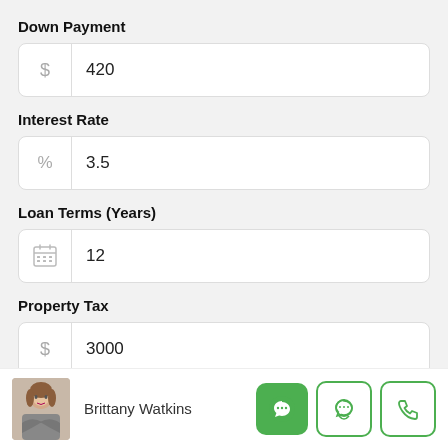Down Payment
$ | 420
Interest Rate
% | 3.5
Loan Terms (Years)
calendar icon | 12
Property Tax
$ | 3000
Brittany Watkins